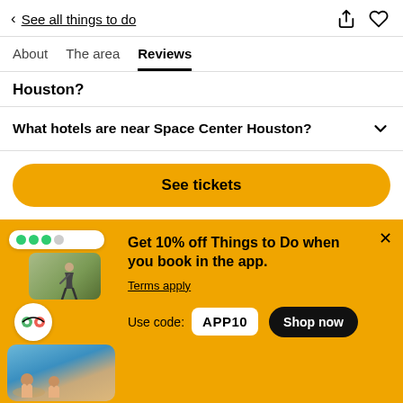< See all things to do
About   The area   Reviews
Houston?
What hotels are near Space Center Houston?
See tickets
Get 10% off Things to Do when you book in the app. Terms apply Use code: APP10  Shop now